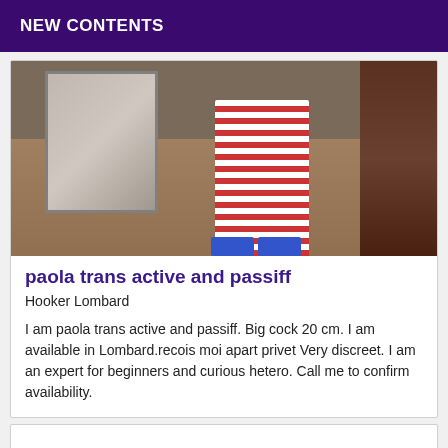NEW CONTENTS
[Figure (photo): Photo showing legs in red and white striped stockings with blue shoes, standing near wooden furniture and a mirror, indoor room setting]
paola trans active and passiff
Hooker Lombard
I am paola trans active and passiff. Big cock 20 cm. I am available in Lombard.recois moi apart privet Very discreet. I am an expert for beginners and curious hetero. Call me to confirm availability.